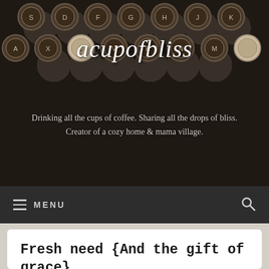[Figure (photo): Dark vintage typewriter keyboard keys close-up, used as blog header background image]
acupofbliss
Drinking all the cups of coffee. Sharing all the drops of bliss. Creator of a cozy home & mama village.
MENU
Fresh need {And the gift of grace}
“Our approach to the Christian life is as absurd as the enthusiastic young man who had just received his...